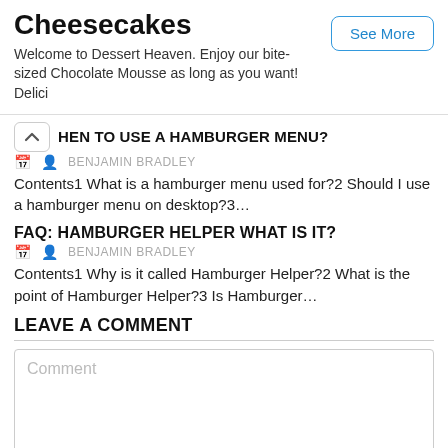Cheesecakes
Welcome to Dessert Heaven. Enjoy our bite-sized Chocolate Mousse as long as you want! Delici
HEN TO USE A HAMBURGER MENU?
BENJAMIN BRADLEY
Contents1 What is a hamburger menu used for?2 Should I use a hamburger menu on desktop?3…
FAQ: HAMBURGER HELPER WHAT IS IT?
BENJAMIN BRADLEY
Contents1 Why is it called Hamburger Helper?2 What is the point of Hamburger Helper?3 Is Hamburger…
LEAVE A COMMENT